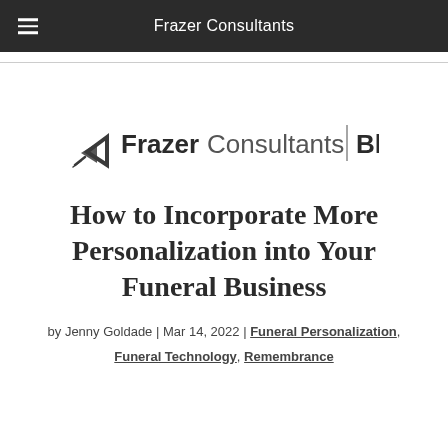Frazer Consultants
[Figure (logo): Frazer Consultants Blog logo with stylized arrow/chevron icon on left, 'Frazer Consultants | Blog' text]
How to Incorporate More Personalization into Your Funeral Business
by Jenny Goldade | Mar 14, 2022 | Funeral Personalization, Funeral Technology, Remembrance